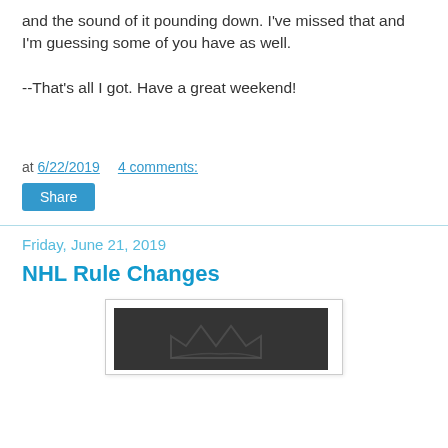and the sound of it pounding down. I've missed that and I'm guessing some of you have as well.
--That's all I got.  Have a great weekend!
at 6/22/2019    4 comments:
Share
Friday, June 21, 2019
NHL Rule Changes
[Figure (photo): Dark-toned image showing what appears to be an embossed or textured surface with a crown-like shape, used as a blog post header image.]